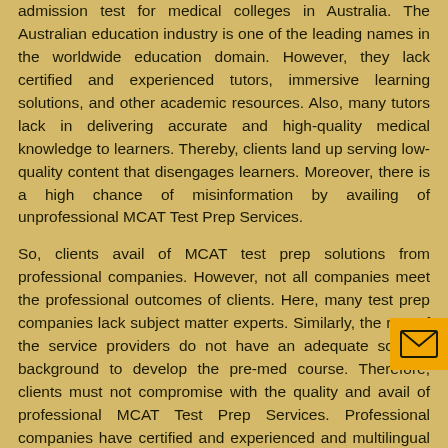admission test for medical colleges in Australia. The Australian education industry is one of the leading names in the worldwide education domain. However, they lack certified and experienced tutors, immersive learning solutions, and other academic resources. Also, many tutors lack in delivering accurate and high-quality medical knowledge to learners. Thereby, clients land up serving low-quality content that disengages learners. Moreover, there is a high chance of misinformation by availing of unprofessional MCAT Test Prep Services.
So, clients avail of MCAT test prep solutions from professional companies. However, not all companies meet the professional outcomes of clients. Here, many test prep companies lack subject matter experts. Similarly, the rest of the service providers do not have an adequate science background to develop the pre-med course. Therefore, clients must not compromise with the quality and avail of professional MCAT Test Prep Services. Professional companies have certified and experienced and multilingual subject matter experts that clients lack in. Also, professional test service providers offer 24/7 service to worldwide clients. Hence, clients only outsource the professional MCAT test prep company that ensures 100% client satisfaction.